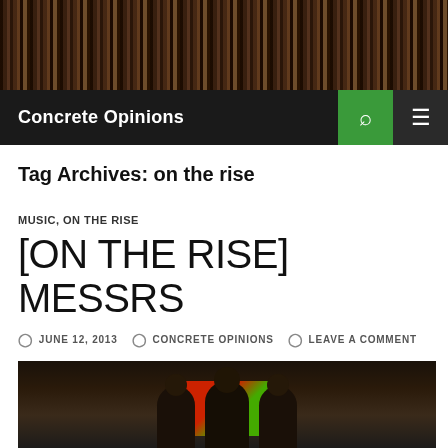[Figure (photo): Header banner showing a shelf of records/CDs viewed from the side, tightly packed together]
Concrete Opinions
Tag Archives: on the rise
MUSIC, ON THE RISE
[ON THE RISE] MESSRS
JUNE 12, 2013  CONCRETE OPINIONS  LEAVE A COMMENT
[Figure (photo): Black and white photo of band members (Messrs) standing in front of a colorful sign]